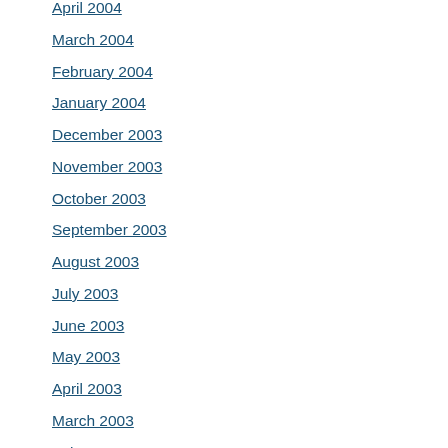April 2004
March 2004
February 2004
January 2004
December 2003
November 2003
October 2003
September 2003
August 2003
July 2003
June 2003
May 2003
April 2003
March 2003
February 2003
January 2003
December 2002
November 2002